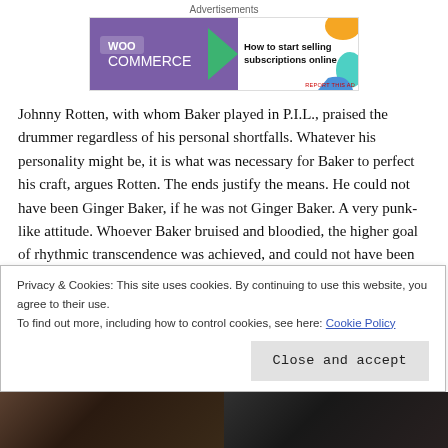[Figure (other): WooCommerce advertisement banner: 'How to start selling subscriptions online']
Johnny Rotten, with whom Baker played in P.I.L., praised the drummer regardless of his personal shortfalls.  Whatever his personality might be, it is what was necessary for Baker to perfect his craft, argues Rotten.  The ends justify the means.  He could not have been Ginger Baker, if he was not Ginger Baker.  A very punk-like attitude.  Whoever Baker bruised and bloodied, the higher goal of rhythmic transcendence was achieved, and could not have been achieved if he was a different person.  That's the way Johnny Rotten sees it, and since nobody can change the past, that's a good way of looking at it.
Privacy & Cookies: This site uses cookies. By continuing to use this website, you agree to their use.
To find out more, including how to control cookies, see here: Cookie Policy
[Figure (photo): Bottom photo strip showing dark images of people]